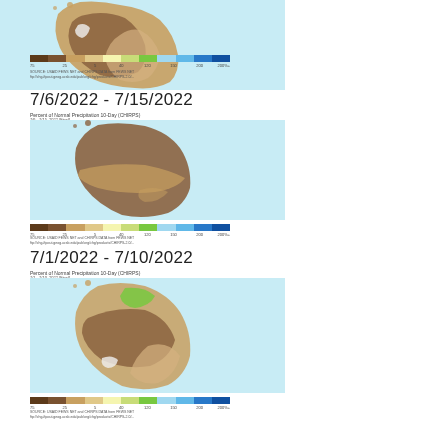[Figure (map): Percent of Normal Precipitation 10-Day (CHIRPS) map of Sri Lanka for partial top section, showing mostly tan/beige and brown drought colors with cyan ocean background and color legend bar]
7/6/2022 - 7/15/2022
[Figure (map): Percent of Normal Precipitation 10-Day (CHIRPS) map of Sri Lanka for 7/6/2022-7/15/2022, showing mostly brown and tan drought colors with cyan ocean background and color legend bar]
7/1/2022 - 7/10/2022
[Figure (map): Percent of Normal Precipitation 10-Day (CHIRPS) map of Sri Lanka for 7/1/2022-7/10/2022, showing brown/tan with some green in north, cyan ocean background and color legend bar]